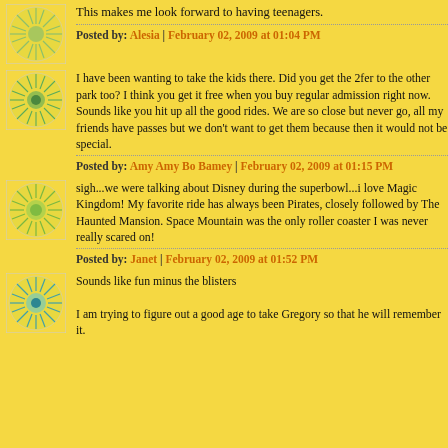This makes me look forward to having teenagers.
Posted by: Alesia | February 02, 2009 at 01:04 PM
I have been wanting to take the kids there. Did you get the 2fer to the other park too? I think you get it free when you buy regular admission right now. Sounds like you hit up all the good rides. We are so close but never go, all my friends have passes but we don't want to get them because then it would not be special.
Posted by: Amy Amy Bo Bamey | February 02, 2009 at 01:15 PM
sigh...we were talking about Disney during the superbowl...i love Magic Kingdom! My favorite ride has always been Pirates, closely followed by The Haunted Mansion. Space Mountain was the only roller coaster I was never really scared on!
Posted by: Janet | February 02, 2009 at 01:52 PM
Sounds like fun minus the blisters
I am trying to figure out a good age to take Gregory so that he will remember it.